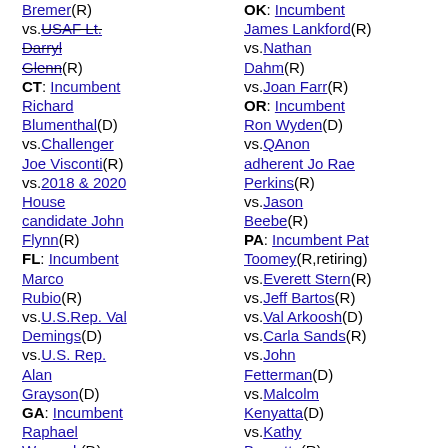Bremer(R) vs.USAF Lt. Darryl Glenn(R) CT: Incumbent Richard Blumenthal(D) vs.Challenger Joe Visconti(R) vs.2018 & 2020 House candidate John Flynn(R) FL: Incumbent Marco Rubio(R) vs.U.S.Rep. Val Demings(D) vs.U.S. Rep. Alan Grayson(D) GA: Incumbent Raphael Warnock(D) vs.Navy vet Latham Saddler(R) vs.Gary Black(R) vs.Herschel
OK: Incumbent James Lankford(R) vs.Nathan Dahm(R) vs.Joan Farr(R) OR: Incumbent Ron Wyden(D) vs.QAnon adherent Jo Rae Perkins(R) vs.Jason Beebe(R) PA: Incumbent Pat Toomey(R,retiring) vs.Everett Stern(R) vs.Jeff Bartos(R) vs.Val Arkoosh(D) vs.Carla Sands(R) vs.John Fetterman(D) vs.Malcolm Kenyatta(D) vs.Kathy Barnette(R) vs.Sharif Street(D) vs.Conor Lamb(D) vs.Sean Parnell(R) vs.Craig Snyder(R) vs.Mehmet Oz(R) SC: Incumbent Tim